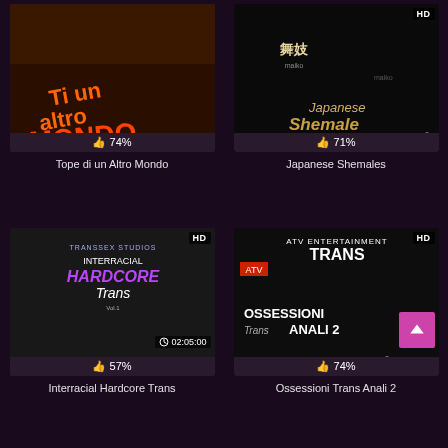[Figure (photo): DVD cover for 'Tope di un Altro Mondo' showing explicit adult content, dark background with orange/red title text]
74%
Tope di un Altro Mondo
[Figure (photo): DVD cover for 'Japanese Shemales' with HD badge, person in black attire, Asian text characters]
71%
Japanese Shemales
[Figure (photo): DVD cover for 'Interracial Hardcore Trans', dark background with two people, runtime 02:05:00]
57%
Interracial Hardcore Trans
[Figure (photo): DVD cover for 'Ossessioni Trans Anali 2', HD badge, ATV Entertainment branding, explicit adult content]
74%
Ossessioni Trans Anali 2